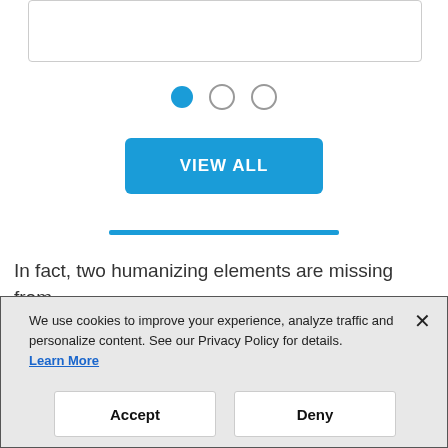[Figure (other): Empty card/box placeholder at top of page]
[Figure (other): Pagination dots: one filled blue circle and two empty circles]
VIEW ALL
[Figure (other): Blue horizontal divider line]
In fact, two humanizing elements are missing from
We use cookies to improve your experience, analyze traffic and personalize content. See our Privacy Policy for details. Learn More
Accept
Deny